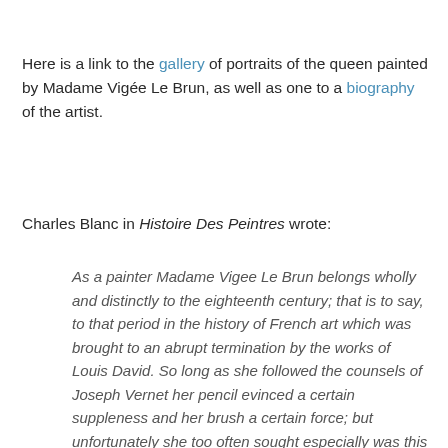Here is a link to the gallery of portraits of the queen painted by Madame Vigée Le Brun, as well as one to a biography of the artist.
Charles Blanc in Histoire Des Peintres wrote:
As a painter Madame Vigee Le Brun belongs wholly and distinctly to the eighteenth century; that is to say, to that period in the history of French art which was brought to an abrupt termination by the works of Louis David. So long as she followed the counsels of Joseph Vernet her pencil evinced a certain suppleness and her brush a certain force; but unfortunately she too often sought especially was this the case in her later works - to imitate Greuze, and weakened the likeness to her models by an exaggerated mistiness. She became the fashion so early in her life that she was debarred from any thorough study, and she was too frequently satisfied with a